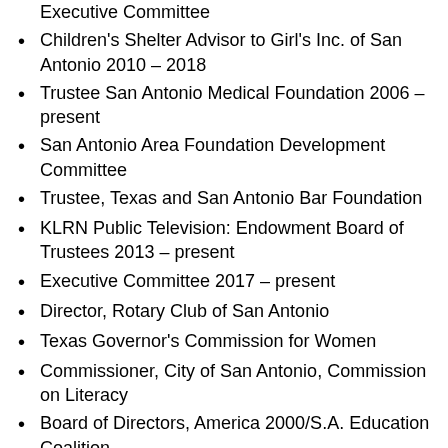Executive Committee
Children's Shelter Advisor to Girl's Inc. of San Antonio 2010 – 2018
Trustee San Antonio Medical Foundation 2006 – present
San Antonio Area Foundation Development Committee
Trustee, Texas and San Antonio Bar Foundation
KLRN Public Television: Endowment Board of Trustees 2013 – present
Executive Committee 2017 – present
Director, Rotary Club of San Antonio
Texas Governor's Commission for Women
Commissioner, City of San Antonio, Commission on Literacy
Board of Directors, America 2000/S.A. Education Coalition
Board of Directors, S.A. Education Partnership Fund
Founding Board of Directors, Communities in Schools